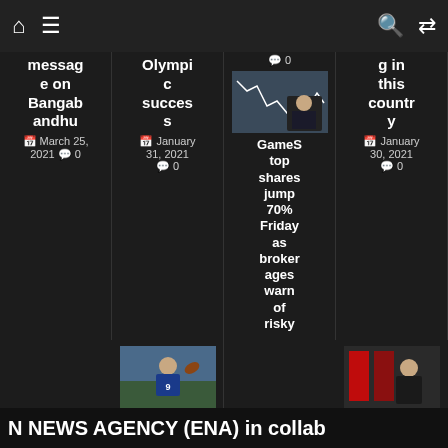Navigation bar with home, menu, search, and shuffle icons
message on Bangabandhu — March 25, 2021 — 0 comments
Olympic success — January 31, 2021 — 0 comments
[Figure (photo): Man in suit on phone with stock chart behind him — GameStop shares jump 70% Friday as brokerages warn of risky — 0 comments]
g in this country — January 30, 2021 — 0 comments
[Figure (photo): Football player number 9 in Lions uniform throwing ball — Lions trade QB Matthew Staffor(d)]
GameStop shares jump 70% Friday as brokerages warn of risky
[Figure (photo): Woman speaking at podium with Canadian flags behind — Government stuck on 'narro(w)']
N NEWS AGENCY (ENA) in collab